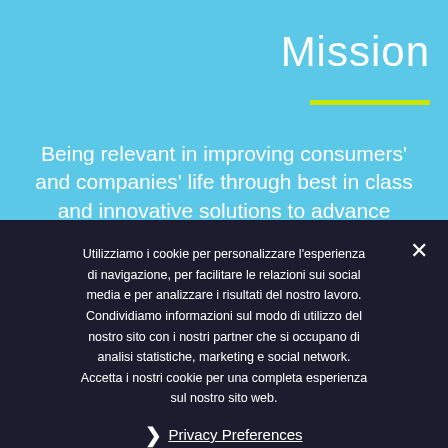Mission
Being relevant in improving consumers' and companies' life through best in class and innovative solutions to advance
Utilizziamo i cookie per personalizzare l'esperienza di navigazione, per facilitare le relazioni sui social media e per analizzare i risultati del nostro lavoro. Condividiamo informazioni sul modo di utilizzo del nostro sito con i nostri partner che si occupano di analisi statistiche, marketing e social network. Accetta i nostri cookie per una completa esperienza sul nostro sito web.
Privacy Preferences
I Agree